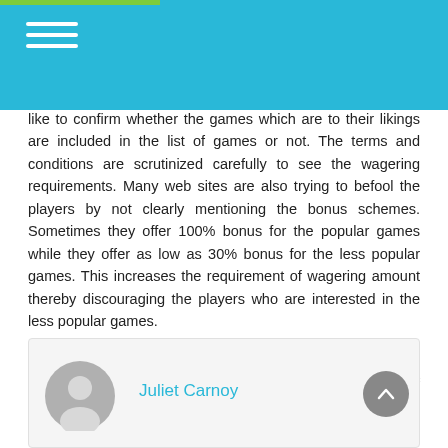like to confirm whether the games which are to their likings are included in the list of games or not. The terms and conditions are scrutinized carefully to see the wagering requirements. Many web sites are also trying to befool the players by not clearly mentioning the bonus schemes. Sometimes they offer 100% bonus for the popular games while they offer as low as 30% bonus for the less popular games. This increases the requirement of wagering amount thereby discouraging the players who are interested in the less popular games.
The mode of payments is also an issue which is to be sorted out by the owners. The web sites also offer various forms of supports such as chat support, email support and fax supports. Hence such supports are also there in the expectations of the players at http://thai-sbobet888.com/.
Juliet Carnoy